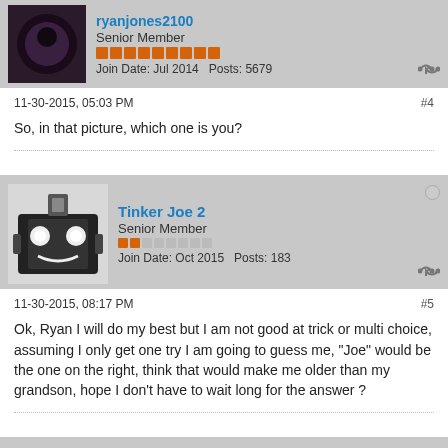ryanjones2100 - Senior Member - Join Date: Jul 2014  Posts: 5679
11-30-2015, 05:03 PM  #4
So, in that picture, which one is you?
Tinker Joe 2 - Senior Member - Join Date: Oct 2015  Posts: 183
11-30-2015, 08:17 PM  #5
Ok, Ryan I will do my best but I am not good at trick or multi choice, assuming I only get one try I am going to guess me, "Joe" would be the one on the right, think that would make me older than my grandson, hope I don't have to wait long for the answer ?